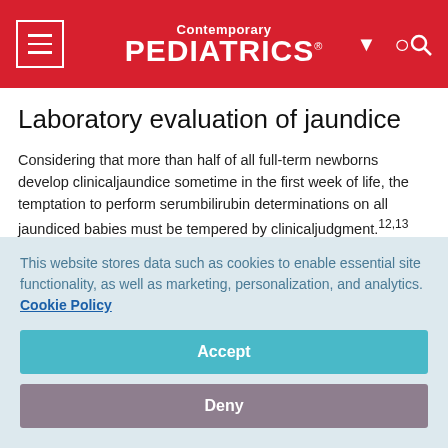Contemporary PEDIATRICS
Laboratory evaluation of jaundice
Considering that more than half of all full-term newborns develop clinicaljaundice sometime in the first week of life, the temptation to perform serumbilirubin determinations on all jaundiced babies must be tempered by clinicaljudgment.12,13 Decisions should be based on the physician's suspicionof risk. A history of significant jaundice or anemia in the family,
This website stores data such as cookies to enable essential site functionality, as well as marketing, personalization, and analytics. Cookie Policy
Accept
Deny